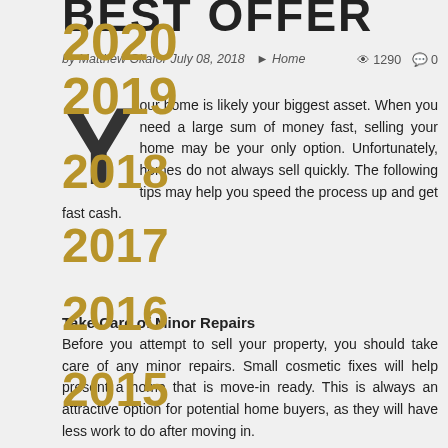BEST OFFER
2020
by Matthew Okafor   July 08, 2018   Home   1290   0
2019
Your home is likely your biggest asset. When you need a large sum of money fast, selling your home may be your only option. Unfortunately, homes do not always sell quickly. The following tips may help you speed the process up and get fast cash.
2018
2017
2016
Take Care of Minor Repairs
2015
Before you attempt to sell your property, you should take care of any minor repairs. Small cosmetic fixes will help present a home that is move-in ready. This is always an attractive option for potential home buyers, as they will have less work to do after moving in.
2014
TAGS
Taking care of minor repairs will also help create a better impression with buyers. When preparing your property, remember to pay attention to both the interior and exterior. Clean up your yard, trim overgrown shrubs, and touch up any paint cracks or chips.
carpet cleaning services London
gas boiler parts Cradley Health